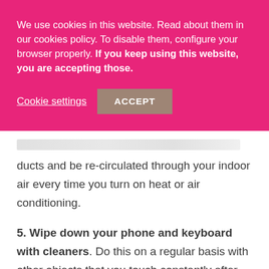We use cookies in this website. Read about them in our cookies policy. To disable them, configure your browser properly. If you keep using this website, you are accepting those.
Cookie settings   ACCEPT
ducts and be re-circulated through your indoor air every time you turn on heat or air conditioning.
5. Wipe down your phone and keyboard with cleaners. Do this on a regular basis with other objects that you touch constantly after you've been out and about as well, like your steering wheel, tablet, television remote control, etc.